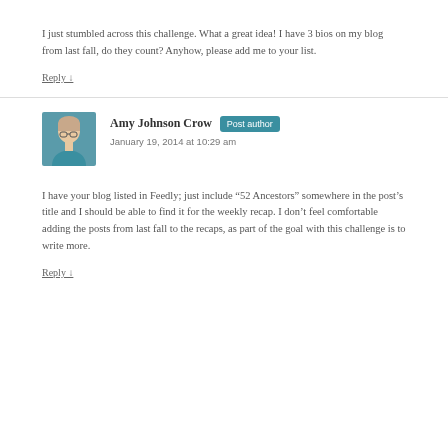I just stumbled across this challenge. What a great idea! I have 3 bios on my blog from last fall, do they count? Anyhow, please add me to your list.
Reply ↓
Amy Johnson Crow  Post author  January 19, 2014 at 10:29 am
I have your blog listed in Feedly; just include “52 Ancestors” somewhere in the post’s title and I should be able to find it for the weekly recap. I don’t feel comfortable adding the posts from last fall to the recaps, as part of the goal with this challenge is to write more.
Reply ↓